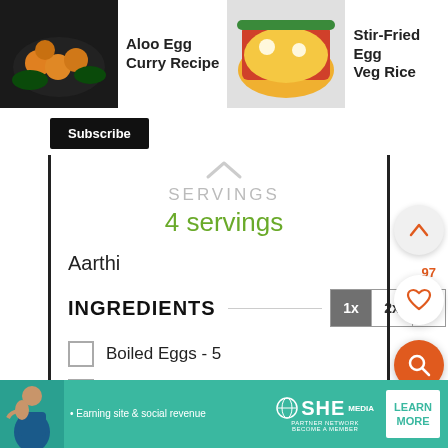[Figure (screenshot): Top navigation bar with food recipe thumbnails: Aloo Egg Curry Recipe, Stir-Fried Egg Veg Rice, Quail Egg Aviyal Recipe, with a Subscribe button below]
SERVINGS
4 servings
Aarthi
INGREDIENTS
Boiled Eggs - 5
Potato - 2 peeled and cubed
Brinjal - 2 cubed
[Figure (infographic): Advertisement banner for SHE Media Partner Network - Earning site & social revenue, with Learn More button]